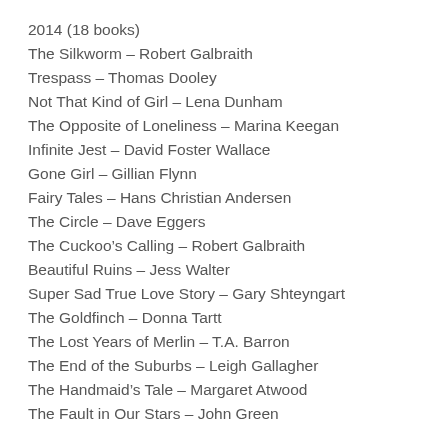2014 (18 books)
The Silkworm – Robert Galbraith
Trespass – Thomas Dooley
Not That Kind of Girl – Lena Dunham
The Opposite of Loneliness – Marina Keegan
Infinite Jest – David Foster Wallace
Gone Girl – Gillian Flynn
Fairy Tales – Hans Christian Andersen
The Circle – Dave Eggers
The Cuckoo's Calling – Robert Galbraith
Beautiful Ruins – Jess Walter
Super Sad True Love Story – Gary Shteyngart
The Goldfinch – Donna Tartt
The Lost Years of Merlin – T.A. Barron
The End of the Suburbs – Leigh Gallagher
The Handmaid's Tale – Margaret Atwood
The Fault in Our Stars – John Green